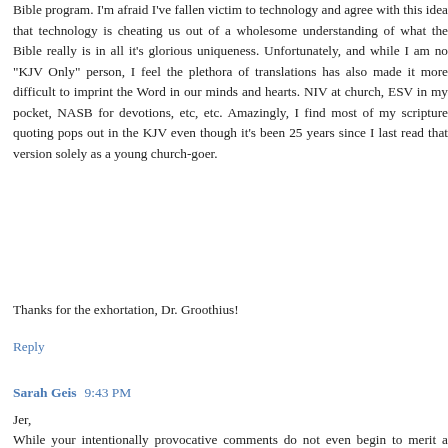Bible program. I'm afraid I've fallen victim to technology and agree with this idea that technology is cheating us out of a wholesome understanding of what the Bible really is in all it's glorious uniqueness. Unfortunately, and while I am no "KJV Only" person, I feel the plethora of translations has also made it more difficult to imprint the Word in our minds and hearts. NIV at church, ESV in my pocket, NASB for devotions, etc, etc. Amazingly, I find most of my scripture quoting pops out in the KJV even though it's been 25 years since I last read that version solely as a young church-goer.
Thanks for the exhortation, Dr. Groothius!
Reply
Sarah Geis  9:43 PM
Jer,
While your intentionally provocative comments do not even begin to merit a response, you are apparently unaware that this is a BLOG. As such, if you do not like it, there are multitudes of other options on the blogosphere. Though I